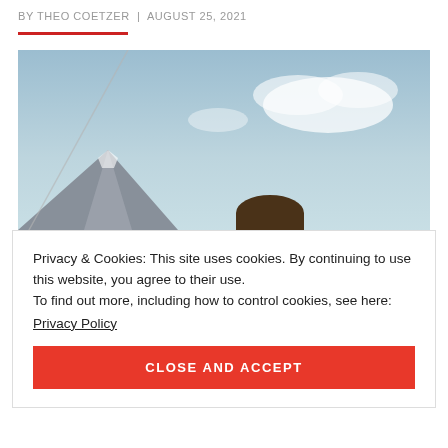BY THEO COETZER  |  AUGUST 25, 2021
[Figure (photo): A man (resembling Sean Connery) looking upward against a blue sky with clouds and a mountain in the background, with a diagonal line (possibly a wire) crossing the frame.]
Privacy & Cookies: This site uses cookies. By continuing to use this website, you agree to their use.
To find out more, including how to control cookies, see here:
Privacy Policy
CLOSE AND ACCEPT